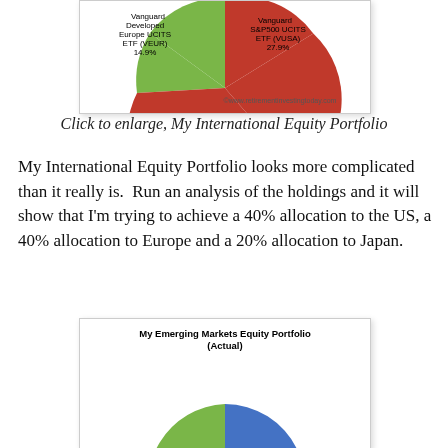[Figure (pie-chart): My International Equity Portfolio (partial/cropped)]
Click to enlarge, My International Equity Portfolio
My International Equity Portfolio looks more complicated than it really is.  Run an analysis of the holdings and it will show that I'm trying to achieve a 40% allocation to the US, a 40% allocation to Europe and a 20% allocation to Japan.
[Figure (pie-chart): My Emerging Markets Equity Portfolio (Actual)]